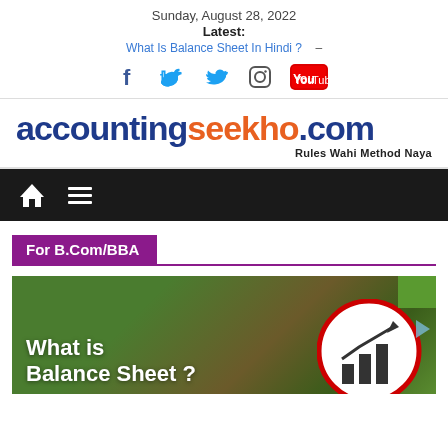Sunday, August 28, 2022
Latest:
What Is Balance Sheet In Hindi ? –
[Figure (illustration): Social media icons: Facebook, Twitter, Instagram, YouTube]
[Figure (logo): accountingseekho.com logo with tagline 'Rules Wahi Method Naya']
[Figure (illustration): Dark navigation bar with home icon and hamburger menu icon]
For B.Com/BBA
[Figure (illustration): Article thumbnail image with text 'What is Balance Sheet ?' and an accounting circle graphic on dark green/brown background]